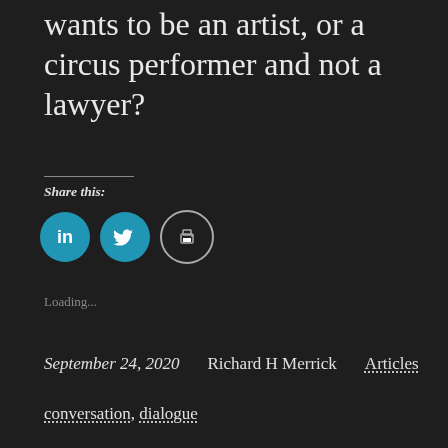wants to be an artist, or a circus performer and not a lawyer?
Share this:
[Figure (infographic): Three social sharing buttons: LinkedIn (blue circle with 'in' icon), Twitter (blue circle with bird icon), Print (white/outline circle with printer icon)]
Loading...
September 24, 2020   Richard H Merrick   Articles
conversation, dialogue